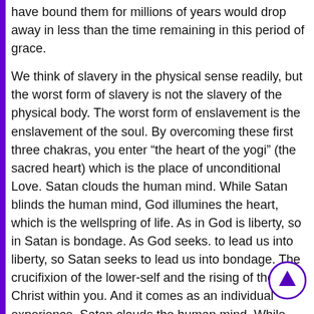have bound them for millions of years would drop away in less than the time remaining in this period of grace.
We think of slavery in the physical sense readily, but the worst form of slavery is not the slavery of the physical body. The worst form of enslavement is the enslavement of the soul. By overcoming these first three chakras, you enter “the heart of the yogi” (the sacred heart) which is the place of unconditional Love. Satan clouds the human mind. While Satan blinds the human mind, God illumines the heart, which is the wellspring of life. As in God is liberty, so in Satan is bondage. As God seeks. to lead us into liberty, so Satan seeks to lead us into bondage. The crucifixion of the lower-self and the rising of the inner Christ within you. And it comes as an individual experience. Satan clouds the human mind. While Satan blinds the human mind, God illumines the heart, which is the wellspring of life (Prov 4:23).
There are three major knots, which tie us down to fear bondage. When something tie human down to fear and bondage it creates a subconsciously and conscious